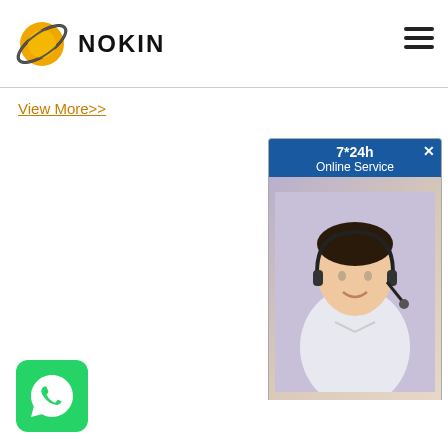NOKIN
View More>>
[Figure (screenshot): 7*24h Online Service chat widget with agent photo and Chat Now button]
[Figure (logo): NOKIN company logo large - golden sphere with orbit ring and NOKIN text]
[Figure (photo): Solar road stud product photo showing aluminum housing with green LED lights and solar panel]
[Figure (logo): WhatsApp contact button - green rounded square with phone icon]